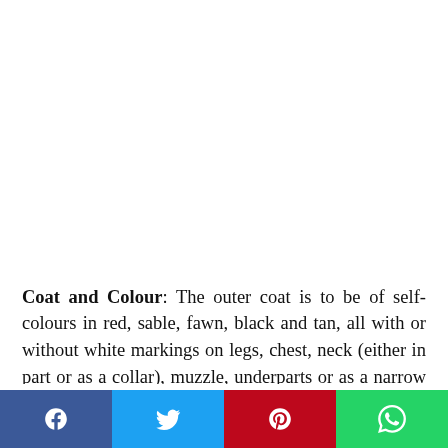Coat and Colour: The outer coat is to be of self-colours in red, sable, fawn, black and tan, all with or without white markings on legs, chest, neck (either in part or as a collar), muzzle, underparts or as a narrow blaze on the head or foreface. The coat should be of medium length; short, thick, weather-resistant undercoat with a coarser, longer outer coat, with slightly thicker and longer ruff around
Social share bar: Facebook, Twitter, Pinterest, WhatsApp